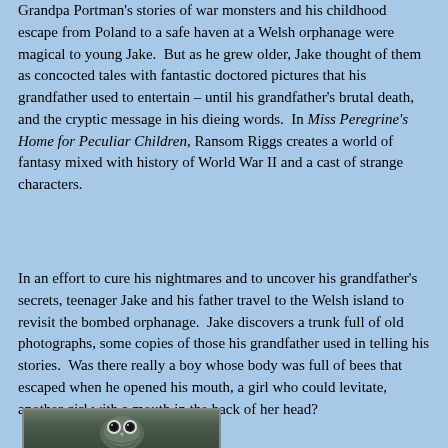Grandpa Portman's stories of war monsters and his childhood escape from Poland to a safe haven at a Welsh orphanage were magical to young Jake.  But as he grew older, Jake thought of them as concocted tales with fantastic doctored pictures that his grandfather used to entertain – until his grandfather's brutal death, and the cryptic message in his dieing words.  In Miss Peregrine's Home for Peculiar Children, Ransom Riggs creates a world of fantasy mixed with history of World War II and a cast of strange characters.
In an effort to cure his nightmares and to uncover his grandfather's secrets, teenager Jake and his father travel to the Welsh island to revisit the bombed orphanage.  Jake discovers a trunk full of old photographs, some copies of those his grandfather used in telling his stories.  Was there really a boy whose body was full of bees that escaped when he opened his mouth, a girl who could levitate, another girl with a mouth in the back of her head?
[Figure (photo): Partial image of an owl or bird face with large eyes, cropped at bottom of page]